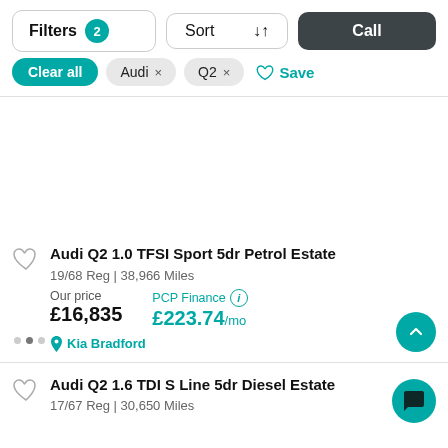[Figure (screenshot): Filter bar with Filters (badge 2), Sort, and Call buttons]
Clear all | Audi × | Q2 × | ♡ Save
Audi Q2 1.0 TFSI Sport 5dr Petrol Estate
19/68 Reg | 38,966 Miles
Our price £16,835  PCP Finance ⓘ £223.74/mo
📍 Kia Bradford
Audi Q2 1.6 TDI S Line 5dr Diesel Estate
17/67 Reg | 30,650 Miles